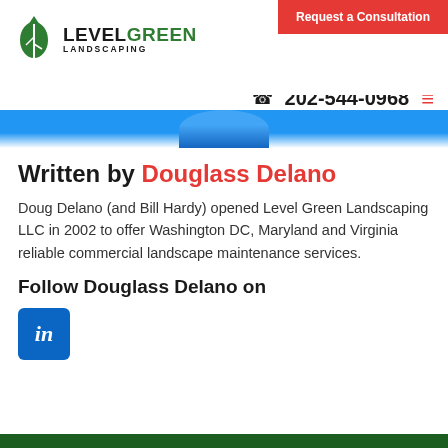[Figure (logo): Level Green Landscaping logo with green leaf icon and company name]
[Figure (other): Red consultation button in top right corner: 'Request a Consultation']
☎ 202-544-0968
[Figure (photo): Partial circular photo of a person visible at top center]
Written by Douglass Delano
Doug Delano (and Bill Hardy) opened Level Green Landscaping LLC in 2002 to offer Washington DC, Maryland and Virginia reliable commercial landscape maintenance services.
Follow Douglass Delano on
[Figure (logo): LinkedIn icon - blue square with white 'in' text]